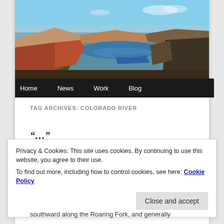[Figure (photo): Panoramic landscape photo of a river canyon with red rock cliffs, blue water, green trees, and blue sky — likely Flaming Gorge or a Colorado River canyon.]
Home  News  Work  Blog
TAG ARCHIVES: COLORADO RIVER
…partial article title (obscured)…
Privacy & Cookies: This site uses cookies. By continuing to use this website, you agree to their use.
To find out more, including how to control cookies, see here: Cookie Policy
Close and accept
southward along the Roaring Fork, and generally